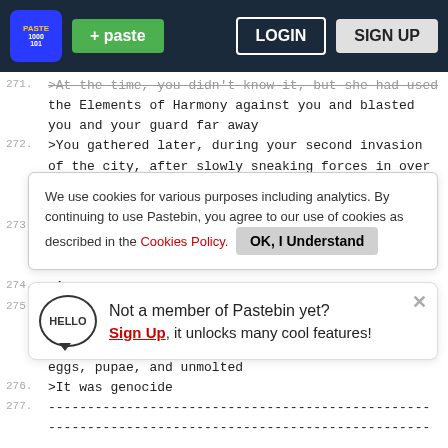[Figure (screenshot): Pastebin website navigation bar with logo, green paste button, login and sign up buttons]
>At the time, you didn't know it, but she had used the Elements of Harmony against you and blasted you and your guard far away
272. >You gathered later, during your second invasion of the city, after slowly sneaking forces in over decades, your remaining children had seemed to lo...
[Figure (screenshot): Cookie consent banner: 'We use cookies for various purposes including analytics. By continuing to use Pastebin, you agree to our use of cookies as described in the Cookies Policy. OK, I Understand']
273. >T... th... disconnect
274. >A
275. >A ki...
[Figure (screenshot): Sign up promo popup: 'Not a member of Pastebin yet? Sign Up, it unlocks many cool features!']
eggs, pupae, and unmolted
276. >It was genocide
277. -------------------------------------------------
-------------------------------------------------